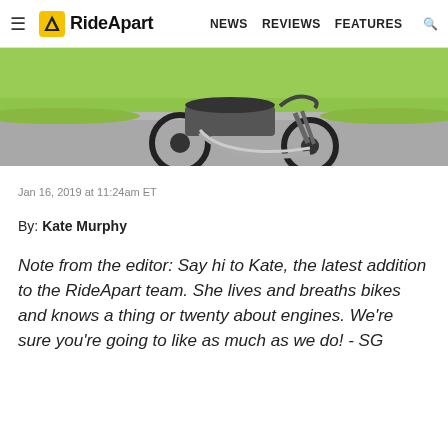RideApart — NEWS  REVIEWS  FEATURES
[Figure (photo): Partial view of a motorcycle on a road with green grass in the background]
Jan 16, 2019 at 11:24am ET
By: Kate Murphy
Note from the editor: Say hi to Kate, the latest addition to the RideApart team. She lives and breaths bikes and knows a thing or twenty about engines. We're sure you're going to like as much as we do! - SG